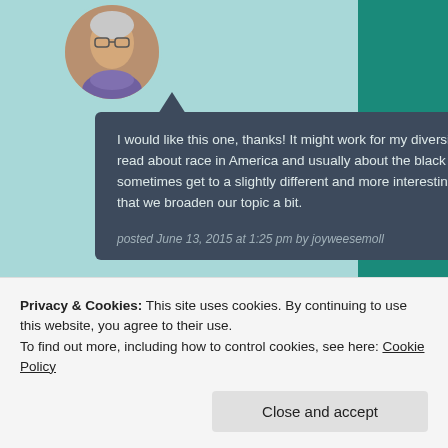[Figure (photo): Circular avatar photo of a person wearing glasses and a purple scarf, outdoors]
I would like this one, thanks! It might work for my diversity book club. We usually read about race in America and usually about the black / white divide — but we sometimes get to a slightly different and more interesting place on the occasions that we broaden our topic a bit.
posted June 13, 2015 at 1:25 pm by joyweesemoll     Reply
[Figure (logo): Circular logo for 'Doing Dewey' blog/website]
Privacy & Cookies: This site uses cookies. By continuing to use this website, you agree to their use.
To find out more, including how to control cookies, see here: Cookie Policy
Close and accept